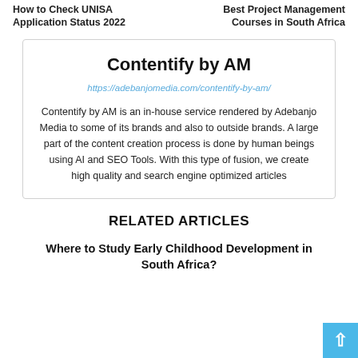How to Check UNISA Application Status 2022 | Best Project Management Courses in South Africa
Contentify by AM
https://adebanjomedia.com/contentify-by-am/
Contentify by AM is an in-house service rendered by Adebanjo Media to some of its brands and also to outside brands. A large part of the content creation process is done by human beings using AI and SEO Tools. With this type of fusion, we create high quality and search engine optimized articles
RELATED ARTICLES
Where to Study Early Childhood Development in South Africa?